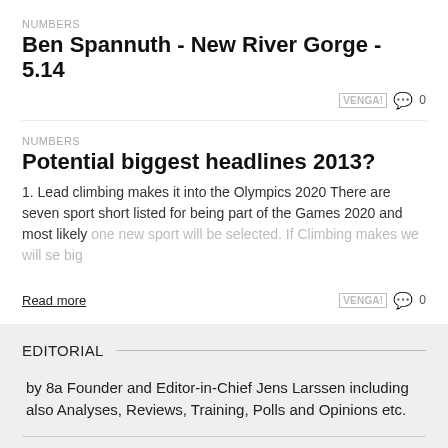NUMBERS
Ben Spannuth - New River Gorge - 5.14
NUMBERS
Potential biggest headlines 2013?
1. Lead climbing makes it into the Olympics 2020 There are seven sport short listed for being part of the Games 2020 and most likely one new sport will be selected. If Climbing makes we will se big
Read more
EDITORIAL
by 8a Founder and Editor-in-Chief Jens Larssen including also Analyses, Reviews, Training, Polls and Opinions etc.